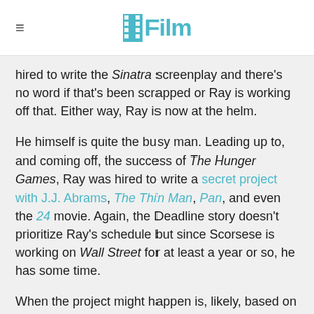/Film
hired to write the Sinatra screenplay and there's no word if that's been scrapped or Ray is working off that. Either way, Ray is now at the helm.
He himself is quite the busy man. Leading up to, and coming off, the success of The Hunger Games, Ray was hired to write a secret project with J.J. Abrams, The Thin Man, Pan, and even the 24 movie. Again, the Deadline story doesn't prioritize Ray's schedule but since Scorsese is working on Wall Street for at least a year or so, he has some time.
When the project might happen is, likely, based on Ray's work. If Scorsese and the studio respond to the screenplay, odds are it could start filming at